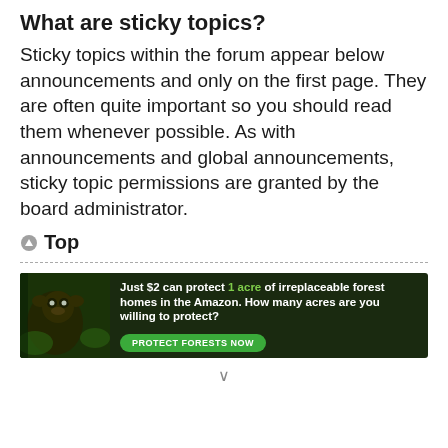What are sticky topics?
Sticky topics within the forum appear below announcements and only on the first page. They are often quite important so you should read them whenever possible. As with announcements and global announcements, sticky topic permissions are granted by the board administrator.
Top
[Figure (infographic): Advertisement banner for Amazon forest protection. Dark green background with a monkey/animal image on the left. Text reads: 'Just $2 can protect 1 acre of irreplaceable forest homes in the Amazon. How many acres are you willing to protect?' with a green button 'PROTECT FORESTS NOW']
v